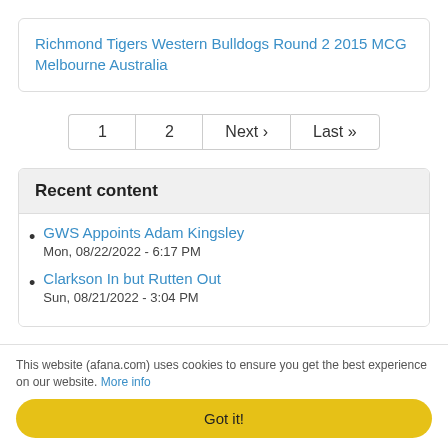Richmond Tigers Western Bulldogs Round 2 2015 MCG Melbourne Australia
1
2
Next ›
Last »
Recent content
GWS Appoints Adam Kingsley
Mon, 08/22/2022 - 6:17 PM
Clarkson In but Rutten Out
Sun, 08/21/2022 - 3:04 PM
This website (afana.com) uses cookies to ensure you get the best experience on our website. More info
Got it!